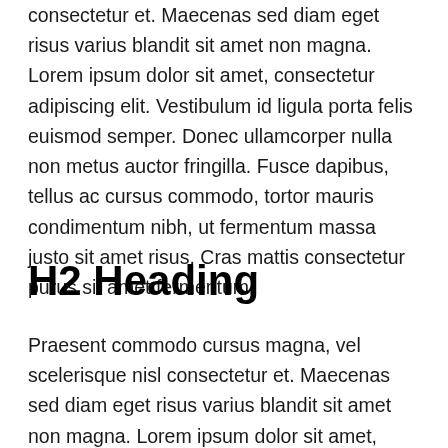consectetur et. Maecenas sed diam eget risus varius blandit sit amet non magna. Lorem ipsum dolor sit amet, consectetur adipiscing elit. Vestibulum id ligula porta felis euismod semper. Donec ullamcorper nulla non metus auctor fringilla. Fusce dapibus, tellus ac cursus commodo, tortor mauris condimentum nibh, ut fermentum massa justo sit amet risus. Cras mattis consectetur purus sit amet fermentum.
H2 Heading
Praesent commodo cursus magna, vel scelerisque nisl consectetur et. Maecenas sed diam eget risus varius blandit sit amet non magna. Lorem ipsum dolor sit amet, consectetur adipiscing elit. Maecenas sed diam eget blandit sit.